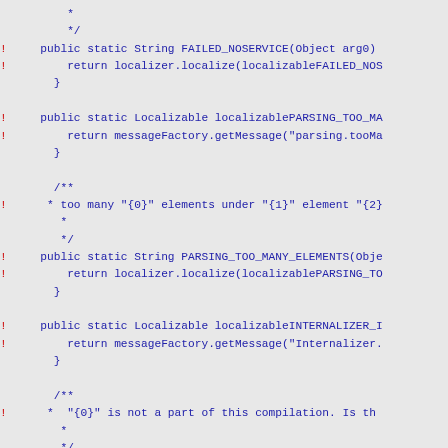Code snippet showing Java source code with public static methods: FAILED_NOSERVICE, localizablePARSING_TOO_MA, PARSING_TOO_MANY_ELEMENTS, localizableINTERNALIZER_I, and INTERNALIZER_INCORRECT_SCHEMA with comments and return statements.